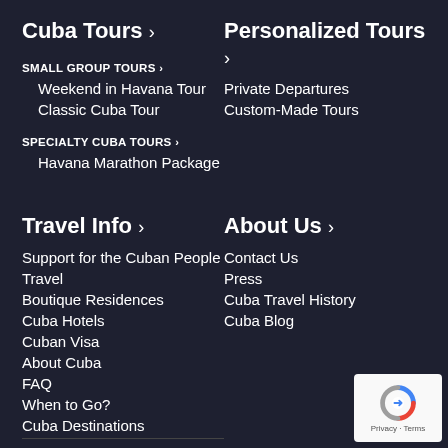Cuba Tours >
SMALL GROUP TOURS >
Weekend in Havana Tour
Classic Cuba Tour
SPECIALTY CUBA TOURS >
Havana Marathon Package
Personalized Tours >
Private Departures
Custom-Made Tours
Travel Info >
Support for the Cuban People
Travel
Boutique Residences
Cuba Hotels
Cuban Visa
About Cuba
FAQ
When to Go?
Cuba Destinations
About Us >
Contact Us
Press
Cuba Travel History
Cuba Blog